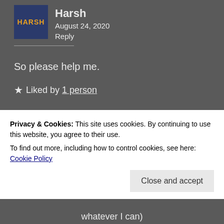Harsh
August 24, 2020
Reply
So please help me.
★ Liked by 1 person
Bulbul
August 24, 2020
Privacy & Cookies: This site uses cookies. By continuing to use this website, you agree to their use. To find out more, including how to control cookies, see here: Cookie Policy
Close and accept
whatever I can)